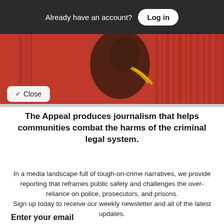Already have an account? Log in
[Figure (photo): Hero image showing a person in athletic/sports gear with red and dark background with vertical stripes]
Close
The Appeal produces journalism that helps communities combat the harms of the criminal legal system.
In a media landscape full of tough-on-crime narratives, we provide reporting that reframes public safety and challenges the over-reliance on police, prosecutors, and prisons. Sign up today to receive our weekly newsletter and all of the latest updates.
Enter your email